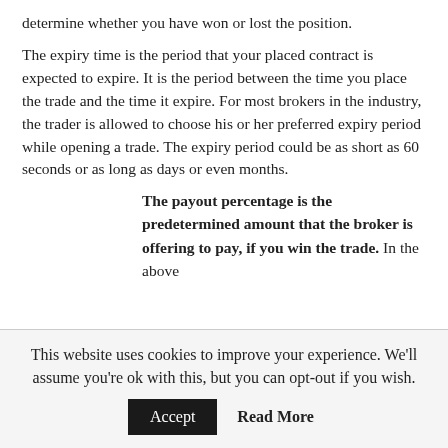determine whether you have won or lost the position.
The expiry time is the period that your placed contract is expected to expire. It is the period between the time you place the trade and the time it expire. For most brokers in the industry, the trader is allowed to choose his or her preferred expiry period while opening a trade. The expiry period could be as short as 60 seconds or as long as days or even months.
The payout percentage is the predetermined amount that the broker is offering to pay, if you win the trade. In the above
This website uses cookies to improve your experience. We'll assume you're ok with this, but you can opt-out if you wish.